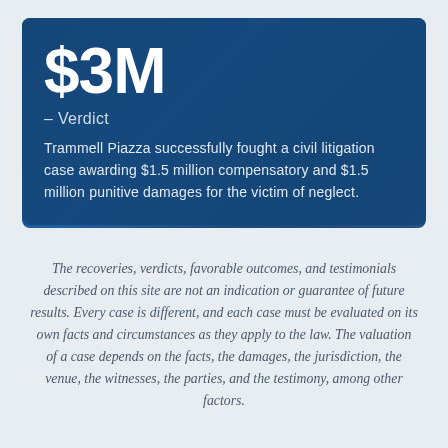$3M
- Verdict
Trammell Piazza successfully fought a civil litigation case awarding $1.5 million compensatory and $1.5 million punitive damages for the victim of neglect.
The recoveries, verdicts, favorable outcomes, and testimonials described on this site are not an indication or guarantee of future results. Every case is different, and each case must be evaluated on its own facts and circumstances as they apply to the law. The valuation of a case depends on the facts, the damages, the jurisdiction, the venue, the witnesses, the parties, and the testimony, among other factors.